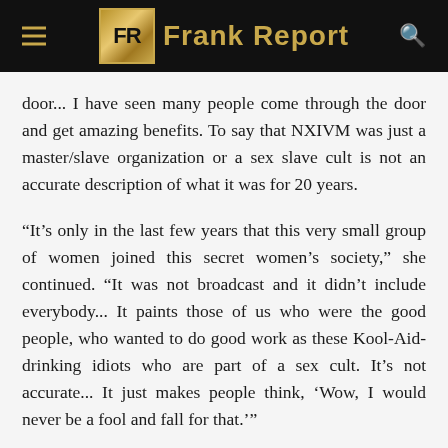Frank Report
door... I have seen many people come through the door and get amazing benefits. To say that NXIVM was just a master/slave organization or a sex slave cult is not an accurate description of what it was for 20 years.
“It’s only in the last few years that this very small group of women joined this secret women’s society,” she continued. “It was not broadcast and it didn’t include everybody... It paints those of us who were the good people, who wanted to do good work as these Kool-Aid-drinking idiots who are part of a sex cult. It’s not accurate... It just makes people think, ‘Wow, I would never be a fool and fall for that.’”
Navigation and social sharing buttons